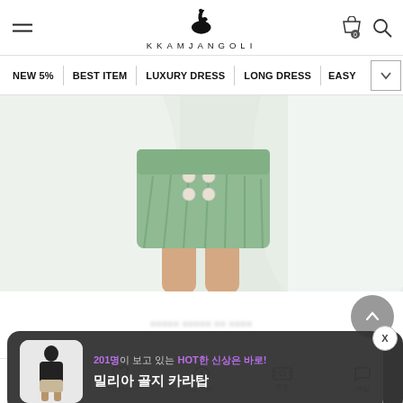[Figure (logo): KKAMJANGOLI brand logo with black swan icon and text]
NEW 5% | BEST ITEM | LUXURY DRESS | LONG DRESS | EASY
[Figure (photo): Fashion photo showing a model wearing a mint/sage green pleated skirt with pearl buttons]
201명이 보고 있는 HOT한 신상은 바로!
밀리아 골지 카라탑
장바구니 | 찜하기 | 최근본 | 쿠폰 | 채팅